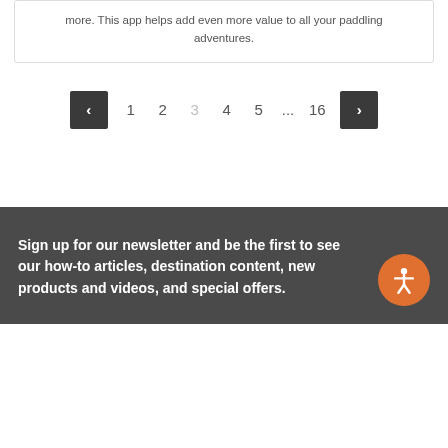more. This app helps add even more value to all your paddling adventures.
‹ 1 2 3 4 5 ... 16 ›
Sign up for our newsletter and be the first to see our how-to articles, destination content, new products and videos, and special offers.